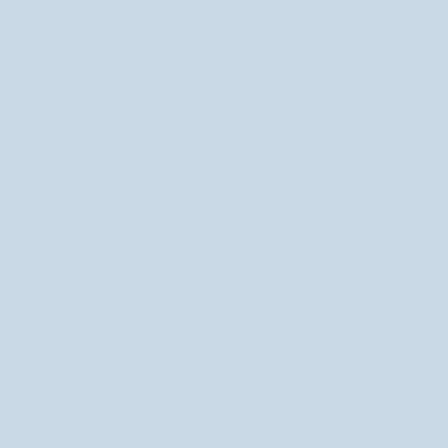I agree that there's a time issue w… this reply or do I respond here?) … Criticism takes such a sustained… write much more quickly.
Posted by: Sandra Simonds | August 15, 2012 at 04…
I know what you mean, to some e… easier the more you do it though.… need to be perfect? I think that th…
Posted by: Sandra Simonds | August 15, 2012 at 06…
Would you like the opportunity to… muscle: it gets better when flexed…
Posted by: sina | August 15, 2012 at 07:11 AM
I think Shana used a telling word… protected for voicing up. It was th…